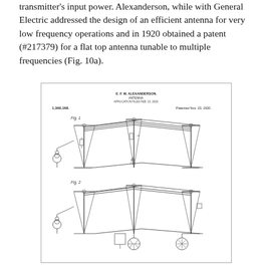transmitter's input power. Alexanderson, while with General Electric addressed the design of an efficient antenna for very low frequency operations and in 1920 obtained a patent (#217379) for a flat top antenna tunable to multiple frequencies (Fig. 10a).
[Figure (schematic): Patent drawing by E.F.W. Alexanderson for an antenna (Patent 1,360,168, Patented Nov. 23, 1920). Shows two figures (Fig. 1 and Fig. 2) of a flat top antenna structure with multiple support masts, horizontal wires, and ground connections including coils and mechanical components.]